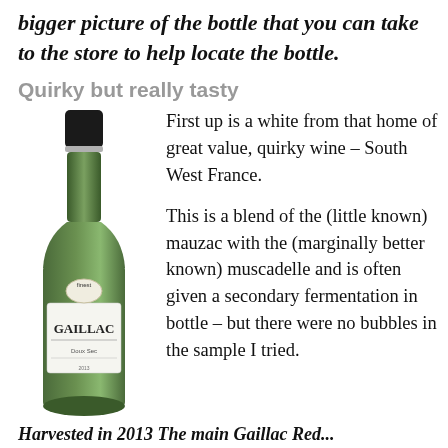bigger picture of the bottle that you can take to the store to help locate the bottle.
Quirky but really tasty
[Figure (photo): A green wine bottle with a label reading 'GAILLAC', with a dark cap, and a small badge at the top of the label reading 'finest'.]
First up is a white from that home of great value, quirky wine – South West France.
This is a blend of the (little known) mauzac with the (marginally better known) muscadelle and is often given a secondary fermentation in bottle – but there were no bubbles in the sample I tried.
Harvested in 2013 The main Gaillac Red...